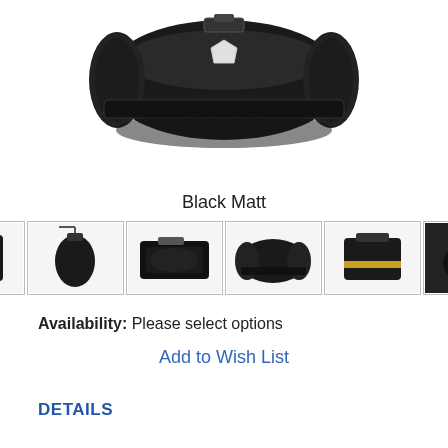[Figure (photo): Black matte bicycle handlebar bag shown from above/front angle, cylindrical roll shape with reflective patch and strap]
Black Matt
[Figure (photo): Row of 8 product thumbnail images of the same black bicycle bag from various angles, with left and right navigation arrows]
Availability: Please select options
Add to Wish List
DETAILS